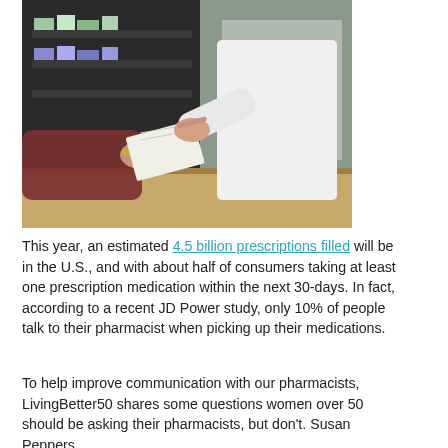[Figure (photo): A pharmacist in a white coat handing a prescription paper to a customer in a brown top across a pharmacy counter, with shelves of medicine in the background.]
This year, an estimated 4.5 billion prescriptions filled will be in the U.S., and with about half of consumers taking at least one prescription medication within the next 30-days. In fact, according to a recent JD Power study, only 10% of people talk to their pharmacist when picking up their medications.
To help improve communication with our pharmacists, LivingBetter50 shares some questions women over 50 should be asking their pharmacists, but don't. Susan Peppers